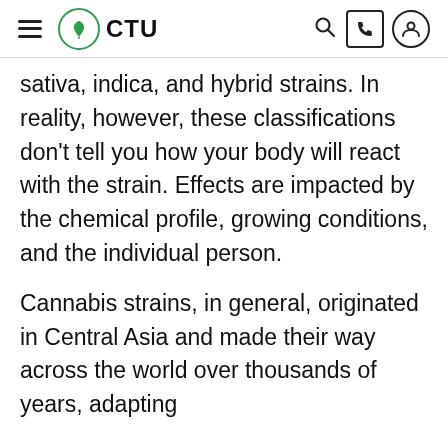CTU
sativa, indica, and hybrid strains. In reality, however, these classifications don't tell you how your body will react with the strain. Effects are impacted by the chemical profile, growing conditions, and the individual person.
Cannabis strains, in general, originated in Central Asia and made their way across the world over thousands of years, adapting